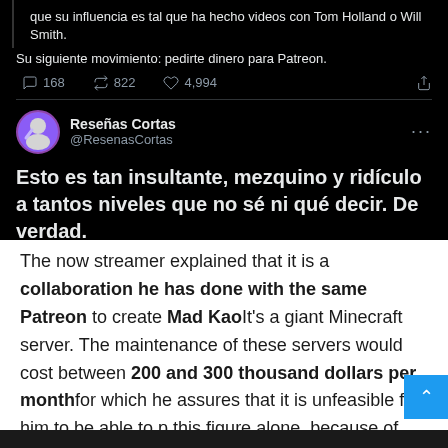[Figure (screenshot): Screenshot of two tweets on dark Twitter UI. Top partial tweet shows Spanish text 'Su siguiente movimiento: pedirte dinero para Patreon.' with engagement metrics 168 comments, 822 retweets, 4,994 likes. Below is a tweet by @ResenasCortas (Reseñas Cortas) saying 'Esto es tan insultante, mezquino y ridículo a tantos niveles que no sé ni qué decir. De verdad.' posted 12:23 PM Mar 27, 2022 via Twitter Web App, with 88 Retweets, 1 Quote Tweet, 1,207 Likes.]
The now streamer explained that it is a collaboration he has done with the same Patreon to create Mad KaoIt's a giant Minecraft server. The maintenance of these servers would cost between 200 and 300 thousand dollars per monthfor which he assures that it is unfeasible for him to be able to p this figure alone, because of this this initiative was born.